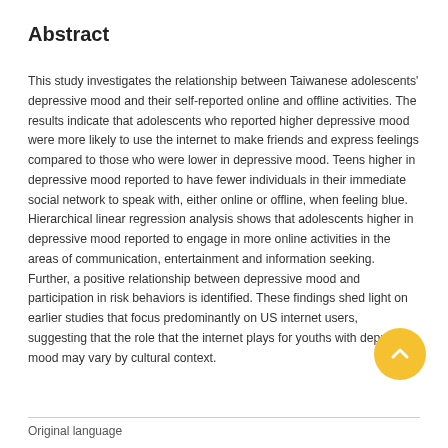Abstract
This study investigates the relationship between Taiwanese adolescents' depressive mood and their self-reported online and offline activities. The results indicate that adolescents who reported higher depressive mood were more likely to use the internet to make friends and express feelings compared to those who were lower in depressive mood. Teens higher in depressive mood reported to have fewer individuals in their immediate social network to speak with, either online or offline, when feeling blue. Hierarchical linear regression analysis shows that adolescents higher in depressive mood reported to engage in more online activities in the areas of communication, entertainment and information seeking. Further, a positive relationship between depressive mood and participation in risk behaviors is identified. These findings shed light on earlier studies that focus predominantly on US internet users, suggesting that the role that the internet plays for youths with depressive mood may vary by cultural context.
Original language